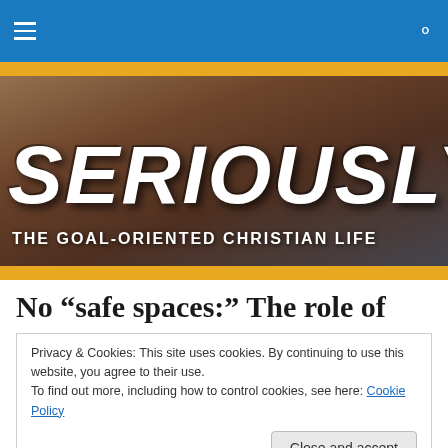Navigation bar with hamburger menu and search icon
[Figure (illustration): Website banner image showing people with books and raised hands, overlaid with large italic bold text 'SERIOUSLY?' and subtitle 'THE GOAL-ORIENTED CHRISTIAN LIFE' on a warm brown toned photo background]
No “safe spaces:” The role of
Privacy & Cookies: This site uses cookies. By continuing to use this website, you agree to their use.
To find out more, including how to control cookies, see here: Cookie Policy
[Close and accept button]
course, a hardened skeptic before coming to know the